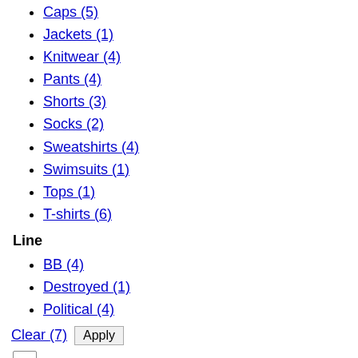Caps (5)
Jackets (1)
Knitwear (4)
Pants (4)
Shorts (3)
Socks (2)
Sweatshirts (4)
Swimsuits (1)
Tops (1)
T-shirts (6)
Line
BB (4)
Destroyed (1)
Political (4)
Clear (7)  Apply
Load products :
Load products automatically
Automatically  Manually